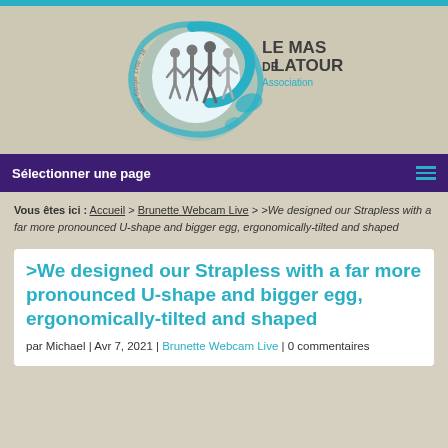[Figure (logo): Le Mas de Latour Association logo with circular design showing silhouettes of people and a teal swirl, with text 'Le Mas de Latour Association' and 'Marie Gauger 1756-1839']
Sélectionner une page
Vous êtes ici : Accueil > Brunette Webcam Live > >We designed our Strapless with a far more pronounced U-shape and bigger egg, ergonomically-tilted and shaped
>We designed our Strapless with a far more pronounced U-shape and bigger egg, ergonomically-tilted and shaped
par Michael | Avr 7, 2021 | Brunette Webcam Live | 0 commentaires